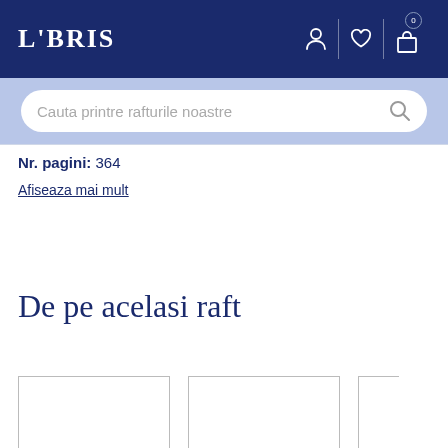LIBRIS
[Figure (screenshot): Search bar with placeholder text 'Cauta printre rafturile noastre' and a search icon on a light blue background]
Nr. pagini: 364
Afiseaza mai mult
De pe acelasi raft
[Figure (other): Three book cover placeholder rectangles partially visible at the bottom of the page]